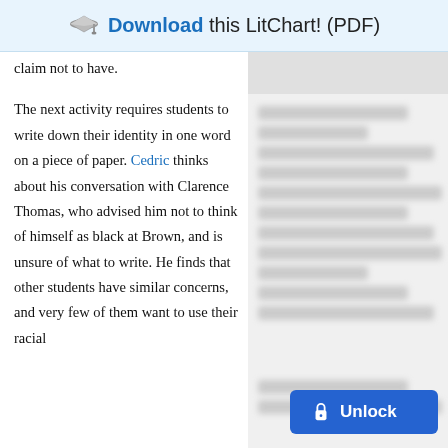Download this LitChart! (PDF)
claim not to have.
The next activity requires students to write down their identity in one word on a piece of paper. Cedric thinks about his conversation with Clarence Thomas, who advised him not to think of himself as black at Brown, and is unsure of what to write. He finds that other students have similar concerns, and very few of them want to use their racial